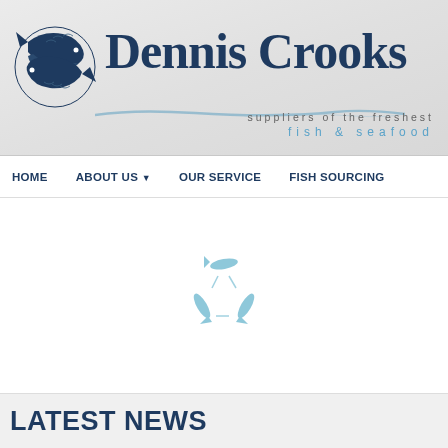[Figure (logo): Dennis Crooks logo: two entwined dark blue fish forming a circular shape, with the company name 'Dennis Crooks' in large dark blue serif font, and tagline 'suppliers of the freshest fish & seafood' with a brush stroke underline]
HOME   ABOUT US   OUR SERVICE   FISH SOURCING
[Figure (illustration): Light blue fish recycling/loading spinner icon made of three fish arranged in a circular/triangular formation]
LATEST NEWS